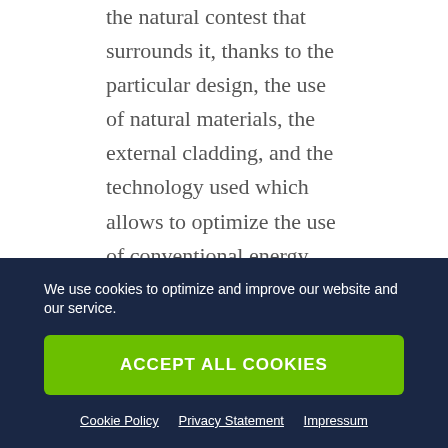the natural contest that surrounds it, thanks to the particular design, the use of natural materials, the external cladding, and the technology used which allows to optimize the use of conventional energy sources and reduce waste, in order to build this villa Padenghe sul Garda for sale in Class A energy efficiency.
Italy Padenghe sul Garda villa lake view –
We use cookies to optimize and improve our website and our service.
ACCEPT ALL COOKIES
Cookie Policy   Privacy Statement   Impressum